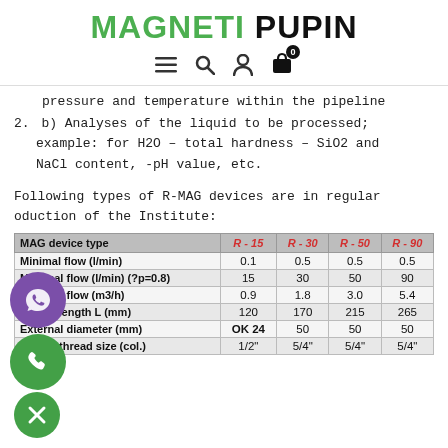MAGNETI PUPIN
pressure and temperature within the pipeline
2. b) Analyses of the liquid to be processed; example: for H2O – total hardness – SiO2 and NaCl content, -pH value, etc.
Following types of R-MAG devices are in regular production of the Institute:
| MAG device type | R - 15 | R - 30 | R - 50 | R - 90 |
| --- | --- | --- | --- | --- |
| Minimal flow (l/min) | 0.1 | 0.5 | 0.5 | 0.5 |
| Maximal flow (l/min) (?p=0.8) | 15 | 30 | 50 | 90 |
| Maximal flow (m3/h) | 0.9 | 1.8 | 3.0 | 5.4 |
| Device length L (mm) | 120 | 170 | 215 | 265 |
| External diameter (mm) | OK 24 | 50 | 50 | 50 |
| Output thread size (col.) | 1/2" | 5/4" | 5/4" | 5/4" |